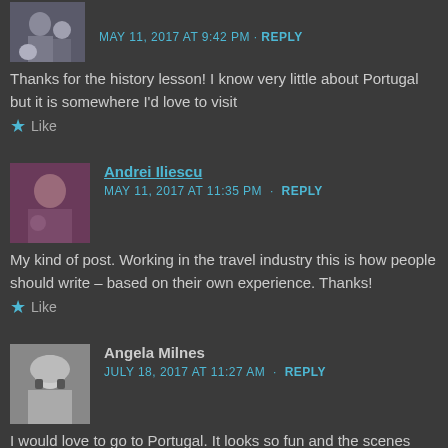[Figure (photo): Small avatar photo of a person with a baby]
MAY 11, 2017 AT 9:42 PM · REPLY
Thanks for the history lesson! I know very little about Portugal but it is somewhere I'd love to visit
★ Like
[Figure (photo): Avatar photo of Andrei Iliescu]
Andrei Iliescu
MAY 11, 2017 AT 11:35 PM · REPLY
My kind of post. Working in the travel industry this is how people should write – based on their own experience. Thanks!
★ Like
[Figure (photo): Avatar photo of Angela Milnes]
Angela Milnes
JULY 18, 2017 AT 11:27 AM · REPLY
I would love to go to Portugal. It looks so fun and the scenes and photos look really culturally rich!